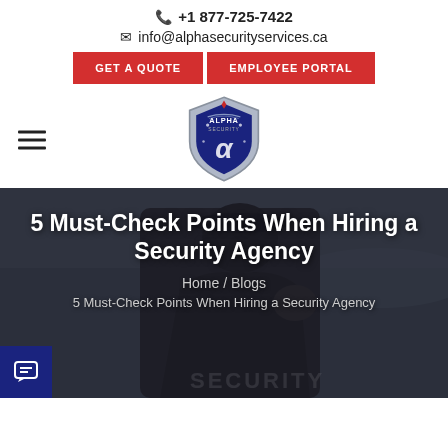+1 877-725-7422
info@alphasecurityservices.ca
GET A QUOTE | EMPLOYEE PORTAL
[Figure (logo): Alpha Security shield logo in blue and silver]
5 Must-Check Points When Hiring a Security Agency
Home / Blogs
5 Must-Check Points When Hiring a Security Agency